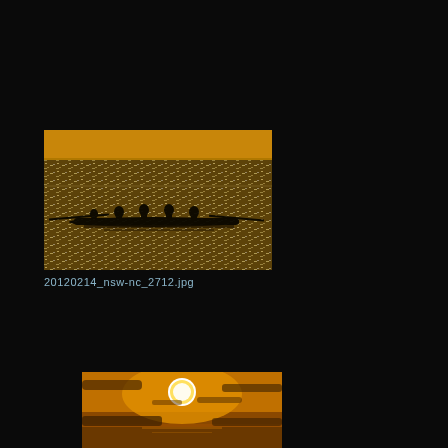[Figure (photo): Silhouette of rowers in a long rowing boat on a sparkling golden-silver ocean at sunset/dusk. The water glistens with reflected light and the sky has a warm golden-orange hue.]
20120214_nsw-nc_2712.jpg
[Figure (photo): Sunset over the ocean with a bright golden sun partially obscured by clouds. The sky and sea are bathed in warm orange and golden tones.]